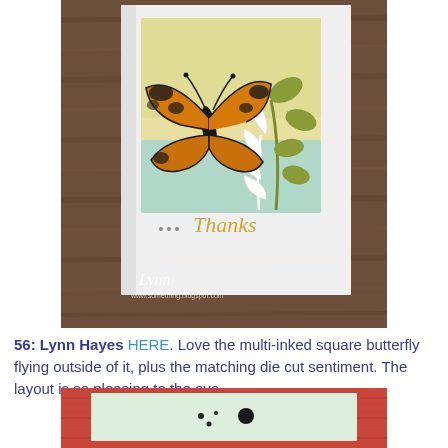[Figure (photo): A handmade greeting card with a butterfly stamp and die cut leaf sprigs on a multi-inked (yellow to blue) square background, with 'Thanks' sentiment. Card is propped against a wooden surface. Watermark reads 'Lynn' in script.]
56: Lynn Hayes HERE. Love the multi-inked square butterfly flying outside of it, plus the matching die cut sentiment. The layout is so pleasing to the eye.
[Figure (photo): Bottom portion of a second handmade card visible, showing a light gray/mint card with dots, on a coral/red patterned background.]